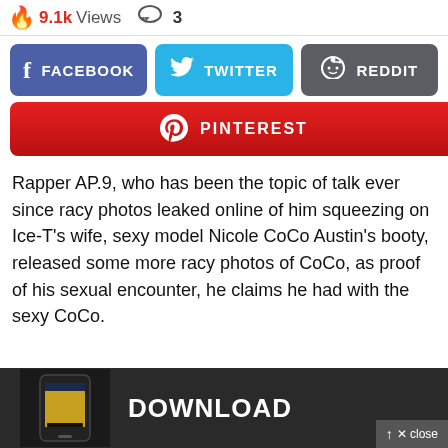9.1k Views  3
[Figure (other): Social share buttons: Facebook (blue), Twitter (cyan), Reddit (gray), Pinterest (red)]
Rapper AP.9, who has been the topic of talk ever since racy photos leaked online of him squeezing on Ice-T's wife, sexy model Nicole CoCo Austin's booty, released some more racy photos of CoCo, as proof of his sexual encounter, he claims he had with the sexy CoCo.
[Figure (screenshot): Download app advertisement banner with phone image and DOWNLOAD text]